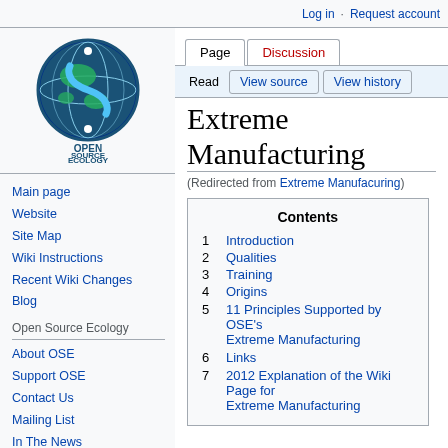Log in  Request account
[Figure (logo): Open Source Ecology logo - globe with S-curve and text OPEN SOURCE ECOLOGY]
Main page
Website
Site Map
Wiki Instructions
Recent Wiki Changes
Blog
Open Source Ecology
About OSE
Support OSE
Contact Us
Mailing List
In The News
Events
Extreme Manufacturing
(Redirected from Extreme Manufacuring)
| # | Section |
| --- | --- |
| 1 | Introduction |
| 2 | Qualities |
| 3 | Training |
| 4 | Origins |
| 5 | 11 Principles Supported by OSE's Extreme Manufacturing |
| 6 | Links |
| 7 | 2012 Explanation of the Wiki Page for Extreme Manufacturing |